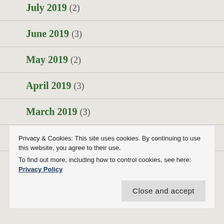July 2019 (2)
June 2019 (3)
May 2019 (2)
April 2019 (3)
March 2019 (3)
February 2019 (1)
January 2019 (2)
Privacy & Cookies: This site uses cookies. By continuing to use this website, you agree to their use.
To find out more, including how to control cookies, see here: Privacy Policy
Close and accept